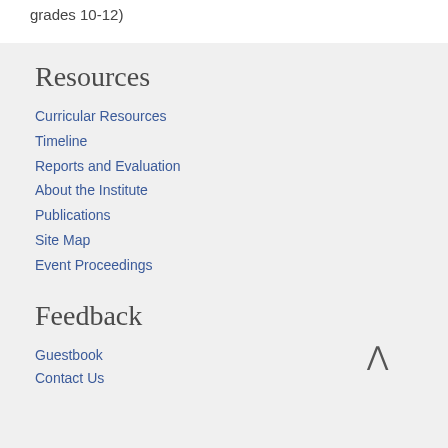grades 10-12)
Resources
Curricular Resources
Timeline
Reports and Evaluation
About the Institute
Publications
Site Map
Event Proceedings
Feedback
Guestbook
Contact Us